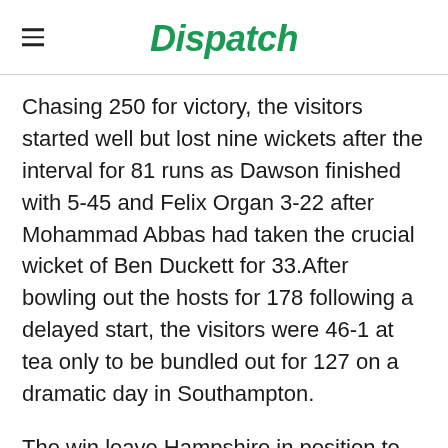Dispatch
Chasing 250 for victory, the visitors started well but lost nine wickets after the interval for 81 runs as Dawson finished with 5-45 and Felix Organ 3-22 after Mohammad Abbas had taken the crucial wicket of Ben Duckett for 33.After bowling out the hosts for 178 following a delayed start, the visitors were 46-1 at tea only to be bundled out for 127 on a dramatic day in Southampton.
The win leave Hampshire in position to seal a first County title since 1973 when they play